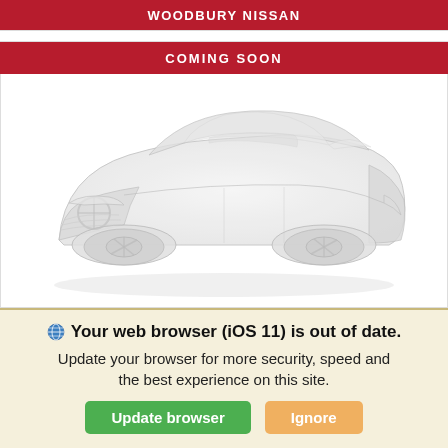WOODBURY NISSAN
COMING SOON
[Figure (illustration): Faded/watermarked white Nissan sedan (Altima) shown in 3/4 front view on white background]
Your web browser (iOS 11) is out of date. Update your browser for more security, speed and the best experience on this site.
Update browser
Ignore